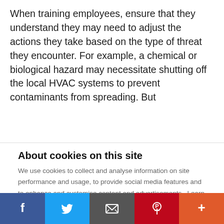When training employees, ensure that they understand they may need to adjust the actions they take based on the type of threat they encounter. For example, a chemical or biological hazard may necessitate shutting off the local HVAC systems to prevent contaminants from spreading. But
About cookies on this site
We use cookies to collect and analyse information on site performance and usage, to provide social media features and to enhance and customise content and advertisements. Learn more
Cookie settings
DENY ALL
ALLOW ALL COOKIES